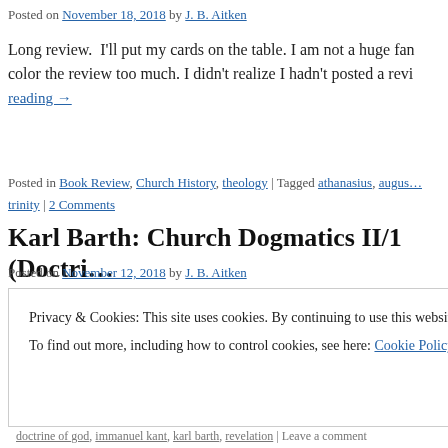Posted on November 18, 2018 by J. B. Aitken
Long review.  I'll put my cards on the table. I am not a huge fan… color the review too much. I didn't realize I hadn't posted a revi… reading →
Posted in Book Review, Church History, theology | Tagged athanasius, augus… trinity | 2 Comments
Karl Barth: Church Dogmatics II/1 (Doctri…
Posted on November 12, 2018 by J. B. Aitken
Privacy & Cookies: This site uses cookies. By continuing to use this website, you agree to their use.
To find out more, including how to control cookies, see here: Cookie Policy
Close and accept
doctrine of god, immanuel kant, karl barth, revelation | Leave a comment